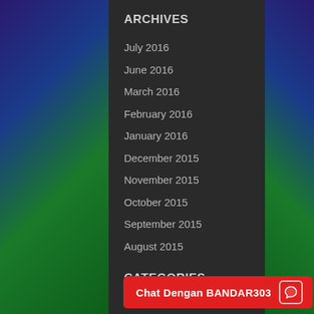ARCHIVES
July 2016
June 2016
March 2016
February 2016
January 2016
December 2015
November 2015
October 2015
September 2015
August 2015
CATEGORIES
agen sabung aya
Chat Dengan BANDAR303